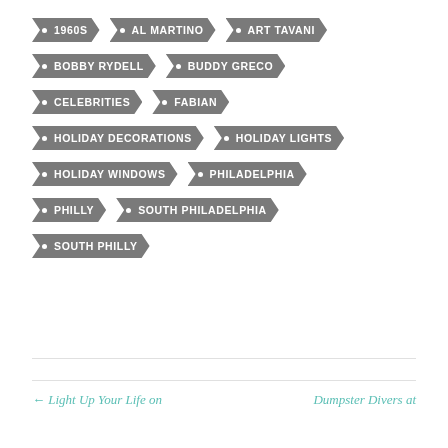1960S
AL MARTINO
ART TAVANI
BOBBY RYDELL
BUDDY GRECO
CELEBRITIES
FABIAN
HOLIDAY DECORATIONS
HOLIDAY LIGHTS
HOLIDAY WINDOWS
PHILADELPHIA
PHILLY
SOUTH PHILADELPHIA
SOUTH PHILLY
← Light Up Your Life on
Dumpster Divers at